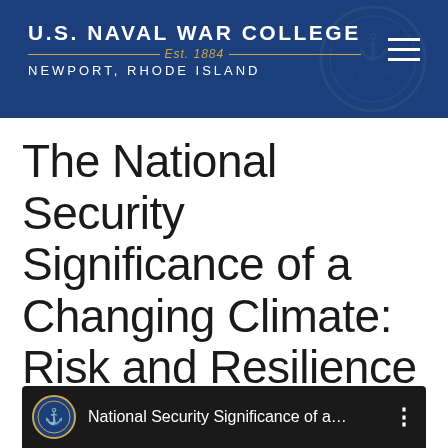U.S. Naval War College Est. 1884 Newport, Rhode Island
The National Security Significance of a Changing Climate: Risk and Resilience in the 21st Century
[Figure (screenshot): Video thumbnail strip showing Naval War College seal and text: National Security Significance of a...]